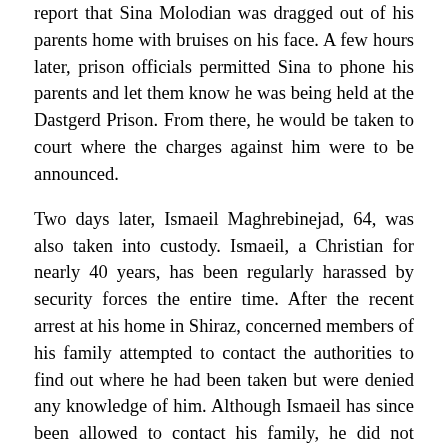report that Sina Molodian was dragged out of his parents home with bruises on his face. A few hours later, prison officials permitted Sina to phone his parents and let them know he was being held at the Dastgerd Prison. From there, he would be taken to court where the charges against him were to be announced.
Two days later, Ismaeil Maghrebinejad, 64, was also taken into custody. Ismaeil, a Christian for nearly 40 years, has been regularly harassed by security forces the entire time. After the recent arrest at his home in Shiraz, concerned members of his family attempted to contact the authorities to find out where he had been taken but were denied any knowledge of him. Although Ismaeil has since been allowed to contact his family, he did not know the location of his imprisonment nor the charges he is facing.
A concerted effort of governmental authorities to arrest and harass Christians continues throughout Iran. Article18 reported at least 114 arrests in ten different cities during the